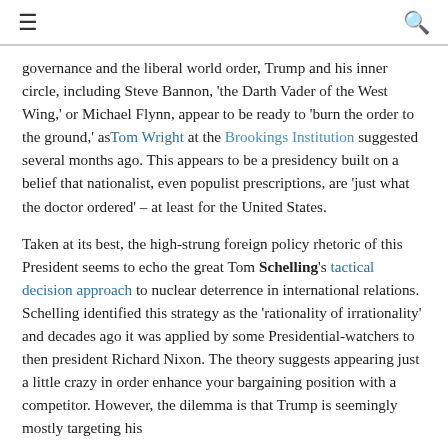≡  🔍
governance and the liberal world order, Trump and his inner circle, including Steve Bannon, 'the Darth Vader of the West Wing,' or Michael Flynn, appear to be ready to 'burn the order to the ground,' as Tom Wright at the Brookings Institution suggested several months ago. This appears to be a presidency built on a belief that nationalist, even populist prescriptions, are 'just what the doctor ordered' – at least for the United States.
Taken at its best, the high-strung foreign policy rhetoric of this President seems to echo the great Tom Schelling's tactical decision approach to nuclear deterrence in international relations. Schelling identified this strategy as the 'rationality of irrationality' and decades ago it was applied by some Presidential-watchers to then president Richard Nixon. The theory suggests appearing just a little crazy in order enhance your bargaining position with a competitor. However, the dilemma is that Trump is seemingly mostly targeting his